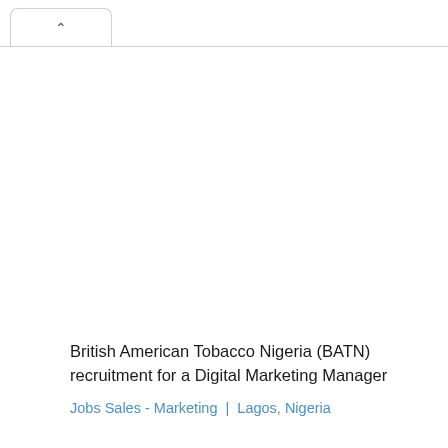[Figure (screenshot): Browser tab UI element showing a collapse/up arrow chevron button in a rounded tab shape at the top left of the page]
British American Tobacco Nigeria (BATN) recruitment for a Digital Marketing Manager
Jobs Sales - Marketing | Lagos, Nigeria